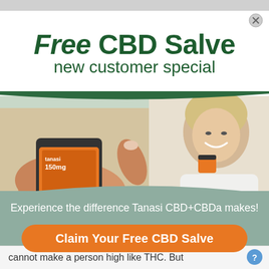Free CBD Salve new customer special
[Figure (photo): Left: hand holding a Tanasi CBD salve jar (150mg, orange label) with finger showing cream. Right: smiling blonde woman holding a small Tanasi CBD jar.]
Experience the difference Tanasi CBD+CBDa makes!
Claim Your Free CBD Salve
cannot make a person high like THC. But